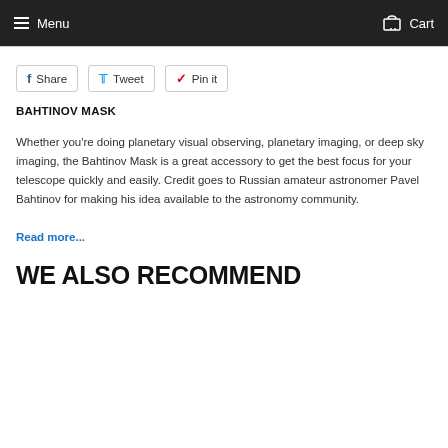Menu   Cart
Share   Tweet   Pin it
BAHTINOV MASK
Whether you're doing planetary visual observing, planetary imaging, or deep sky imaging, the Bahtinov Mask is a great accessory to get the best focus for your telescope quickly and easily. Credit goes to Russian amateur astronomer Pavel Bahtinov for making his idea available to the astronomy community.
Read more...
WE ALSO RECOMMEND